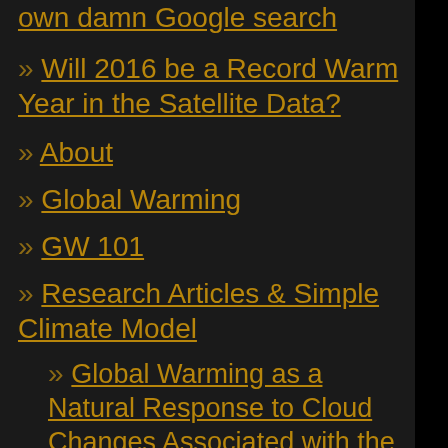own damn Google search
» Will 2016 be a Record Warm Year in the Satellite Data?
» About
» Global Warming
» GW 101
» Research Articles & Simple Climate Model
» Global Warming as a Natural Response to Cloud Changes Associated with the Pacific